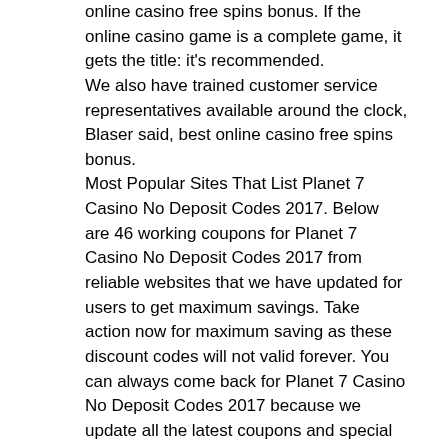online casino free spins bonus. If the online casino game is a complete game, it gets the title: it's recommended. We also have trained customer service representatives available around the clock, Blaser said, best online casino free spins bonus. Most Popular Sites That List Planet 7 Casino No Deposit Codes 2017. Below are 46 working coupons for Planet 7 Casino No Deposit Codes 2017 from reliable websites that we have updated for users to get maximum savings. Take action now for maximum saving as these discount codes will not valid forever. You can always come back for Planet 7 Casino No Deposit Codes 2017 because we update all the latest coupons and special deals weekly. Should you wish to be a regular at this casino and continue to have fun, Pla, best online casino free spins bonus.